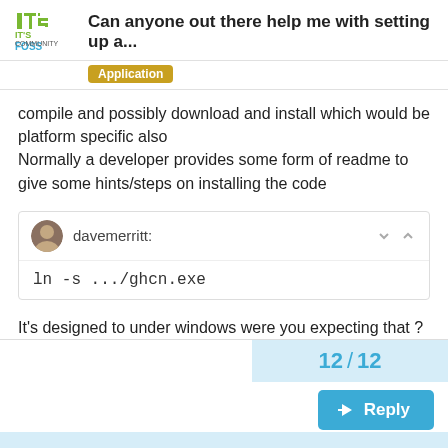Can anyone out there help me with setting up a...
Application
compile and possibly download and install which would be platform specific also
Normally a developer provides some form of readme to give some hints/steps on installing the code
davemerritt:
ln -s .../ghcn.exe
It's designed to under windows were you expecting that ?
12 / 12